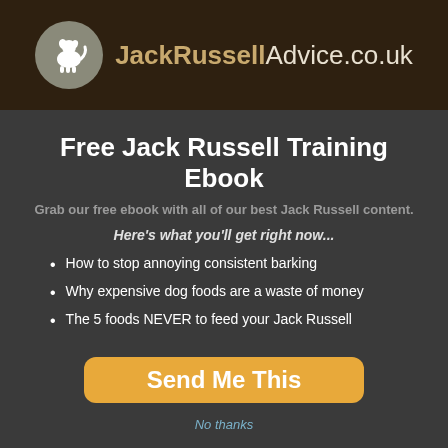[Figure (logo): JackRussellAdvice.co.uk logo with dog silhouette in grey circle and brand name text]
Free Jack Russell Training Ebook
Grab our free ebook with all of our best Jack Russell content.
Here's what you'll get right now...
How to stop annoying consistent barking
Why expensive dog foods are a waste of money
The 5 foods NEVER to feed your Jack Russell
Send Me This
No thanks